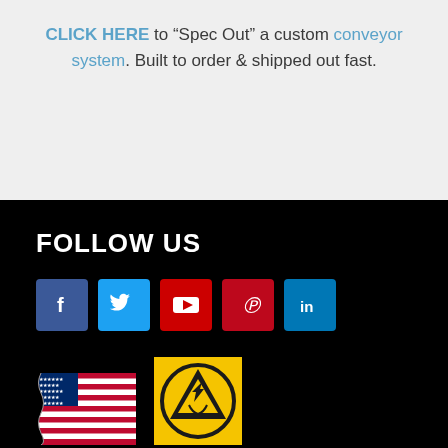CLICK HERE to “Spec Out” a custom conveyor system. Built to order & shipped out fast.
FOLLOW US
[Figure (infographic): Five social media icon buttons in a row: Facebook (blue), Twitter (light blue), YouTube (red), Pinterest (red), LinkedIn (blue)]
[Figure (infographic): American flag illustration and ESD/antistatic symbol badge on yellow background]